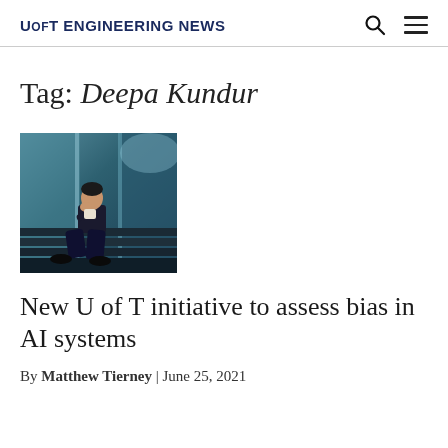UofT Engineering News
Tag: Deepa Kundur
[Figure (photo): A person sitting on stairs in a modern building with glass walls, resting their chin on their hand in a thoughtful pose.]
New U of T initiative to assess bias in AI systems
By Matthew Tierney | June 25, 2021